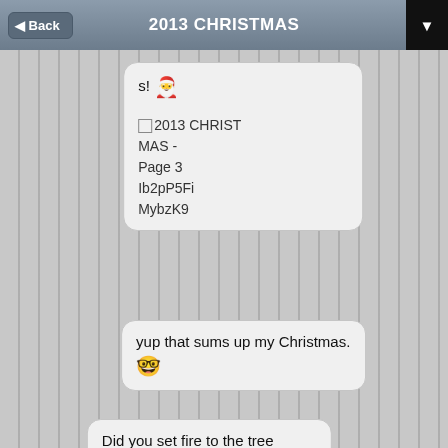2013 CHRISTMAS
[Figure (screenshot): Chat message showing 's!' text with Santa emoji, followed by an image placeholder labeled '2013 CHRISTMAS - Page 3 Ib2pP5FiMybzK9']
yup that sums up my Christmas. 🤓
Did you set fire to the tree Figgy?
No tree. I hate Christmas.